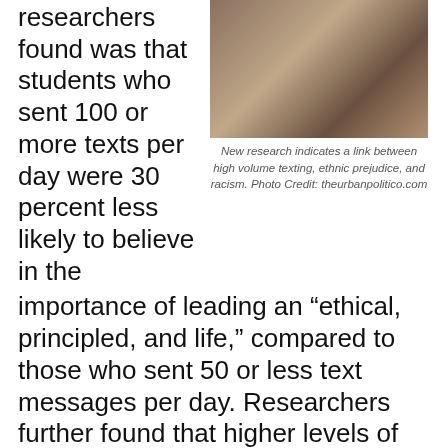researchers found was that students who sent 100 or more texts per day were 30 percent less likely to believe in the importance of leading an “ethical, principled, and life,” compared to those who sent 50 or less text messages per day. Researchers further found that higher levels of ethnic prejudice were consistently associated with higher numbers of texts.
[Figure (photo): A hand holding a mobile/cell phone with a bus schedule or map in the background]
New research indicates a link between high volume texting, ethnic prejudice, and racism. Photo Credit: theurbanpolitico.com
“Ultra-brief social media like texting and Twitter encourages rapid, relatively